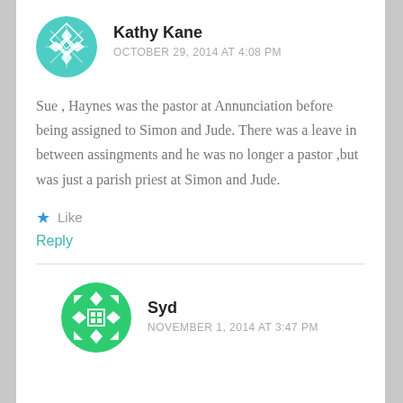[Figure (illustration): Avatar icon for Kathy Kane — teal/green geometric snowflake-style pattern in a circle]
Kathy Kane
OCTOBER 29, 2014 AT 4:08 PM
Sue , Haynes was the pastor at Annunciation before being assigned to Simon and Jude. There was a leave in between assingments and he was no longer a pastor ,but was just a parish priest at Simon and Jude.
Like
Reply
[Figure (illustration): Avatar icon for Syd — green geometric grid/diamond pattern in a circle]
Syd
NOVEMBER 1, 2014 AT 3:47 PM